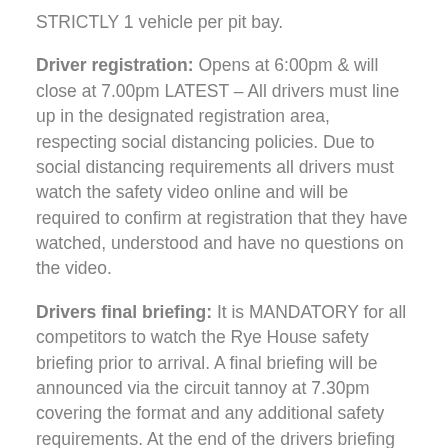STRICTLY 1 vehicle per pit bay.
Driver registration: Opens at 6:00pm & will close at 7.00pm LATEST – All drivers must line up in the designated registration area, respecting social distancing policies. Due to social distancing requirements all drivers must watch the safety video online and will be required to confirm at registration that they have watched, understood and have no questions on the video.
Drivers final briefing: It is MANDATORY for all competitors to watch the Rye House safety briefing prior to arrival. A final briefing will be announced via the circuit tannoy at 7.30pm covering the format and any additional safety requirements. At the end of the drivers briefing the allocation of karts to teams will be done by random draw.